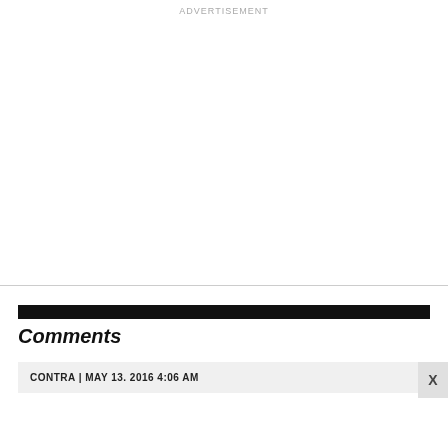ADVERTISEMENT
Comments
CONTRA | MAY 13. 2016 4:06 AM